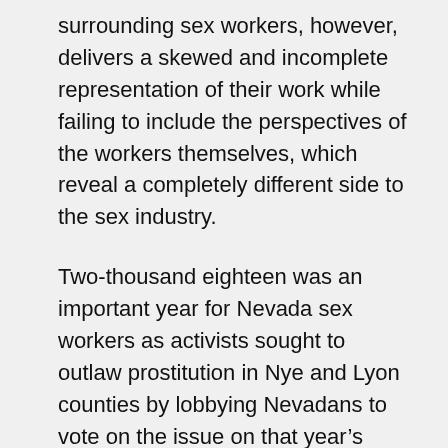surrounding sex workers, however, delivers a skewed and incomplete representation of their work while failing to include the perspectives of the workers themselves, which reveal a completely different side to the sex industry.
Two-thousand eighteen was an important year for Nevada sex workers as activists sought to outlaw prostitution in Nye and Lyon counties by lobbying Nevadans to vote on the issue on that year's November ballot. The Washington Post reported on the activists' efforts, noting how the Lyon County campaign was pioneered by the End Trafficking and Prostitution Political Action Committee, which “reject[ed] the idea that any woman would choose to do sex work for a living.” Instead, many perceive sex workers as victims forced into the profession. Awaken, a non-profit aimed at fighting commercial sexual exploitation, regards prostitution as “a legal framework which fuels sexual exploitation and violence,” according to its website